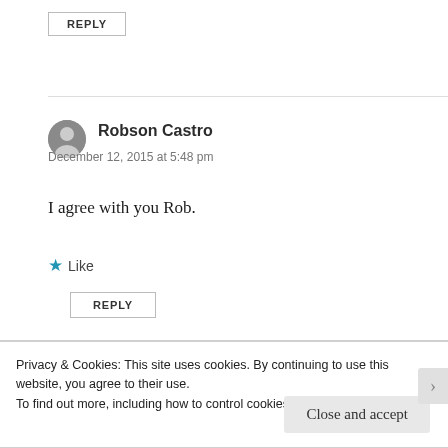REPLY
Robson Castro
December 12, 2015 at 5:48 pm
I agree with you Rob.
Like
REPLY
Privacy & Cookies: This site uses cookies. By continuing to use this website, you agree to their use.
To find out more, including how to control cookies, see here: Cookie Policy
Close and accept